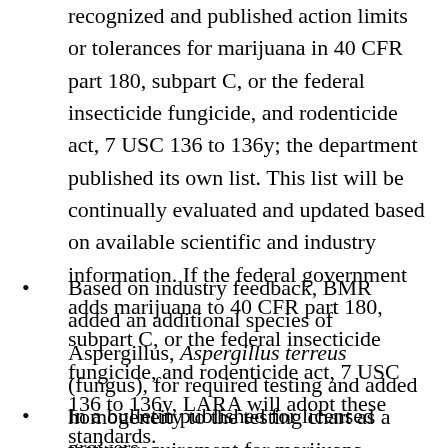recognized and published action limits or tolerances for marijuana in 40 CFR part 180, subpart C, or the federal insecticide fungicide, and rodenticide act, 7 USC 136 to 136y; the department published its own list. This list will be continually evaluated and updated based on available scientific and industry information. If the federal government adds marijuana to 40 CFR part 180, subpart C, or the federal insecticide fungicide, and rodenticide act, 7 USC 136 to 136y, LARA will adopt these standards.
Based on industry feedback, BMR added an additional species of Aspergillus, Aspergillus terreus (fungus), for required testing and added homogeneity to the testing chart as a testing requirement for marijuana-infused products.
In a bulletin published for licensed growers